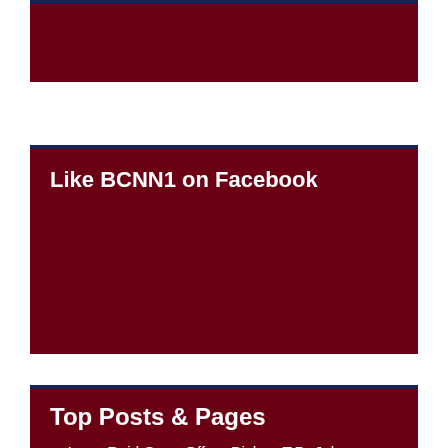Like BCNN1 on Facebook
Top Posts & Pages
Larry Reid Goes Off on Bishop T.D. Jakes, Serita Jakes, Potter's House Staff, and Cora Jakes For Mishandling an Accusation That Cora Jakes Stole Another Woman's Baby Through "Manipulation, Coercion, and Duress"; Reid Did